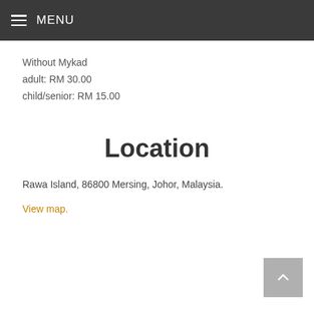MENU
Without Mykad
adult: RM 30.00
child/senior: RM 15.00
Location
Rawa Island, 86800 Mersing, Johor, Malaysia.
View map.